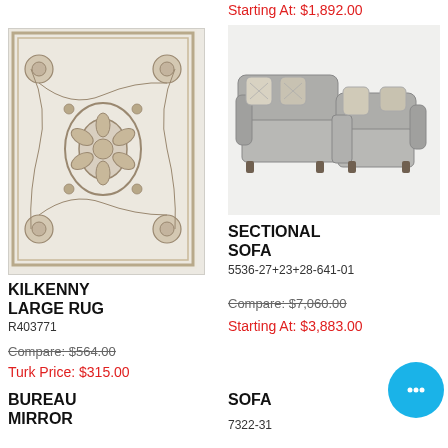Starting At: $1,892.00
[Figure (photo): Kilkenny large area rug with floral/medallion pattern in cream and grey tones]
KILKENNY LARGE RUG
R403771
Compare: $564.00
Turk Price: $315.00
[Figure (photo): Grey sectional sofa with decorative pillows, L-shape configuration with rolled arms]
SECTIONAL SOFA
5536-27+23+28-641-01
Compare: $7,060.00
Starting At: $3,883.00
BUREAU MIRROR
SOFA
7322-31